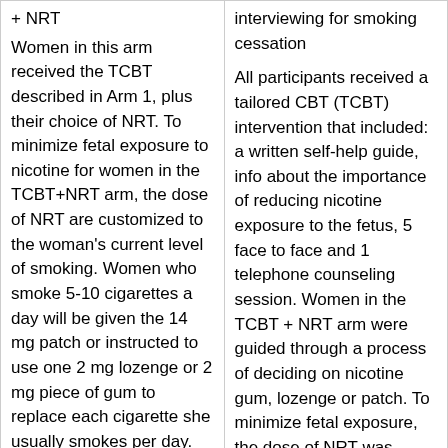| + NRT

Women in this arm received the TCBT described in Arm 1, plus their choice of NRT. To minimize fetal exposure to nicotine for women in the TCBT+NRT arm, the dose of NRT are customized to the woman's current level of smoking. Women who smoke 5-10 cigarettes a day will be given the 14 mg patch or instructed to use one 2 mg lozenge or 2 mg piece of gum to replace each cigarette she usually smokes per day. Those who smoke 11 cigarettes or | interviewing for smoking cessation

All participants received a tailored CBT (TCBT) intervention that included: a written self-help guide, info about the importance of reducing nicotine exposure to the fetus, 5 face to face and 1 telephone counseling session. Women in the TCBT + NRT arm were guided through a process of deciding on nicotine gum, lozenge or patch. To minimize fetal exposure, the dose of NRT was customized to the woman's current level of smoking |